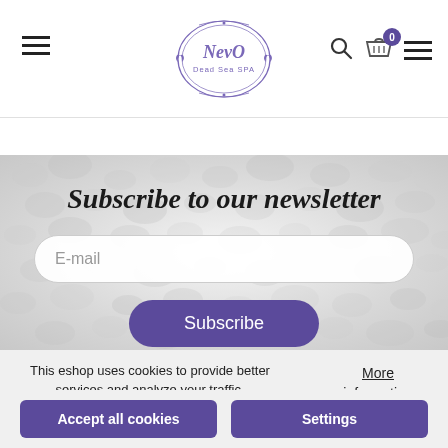[Figure (logo): NevO Dead Sea SPA logo — oval/ellipse border in purple with decorative flourishes, text 'NevO' and 'Dead Sea SPA']
Subscribe to our newsletter
E-mail
Subscribe
This eshop uses cookies to provide better services and analyze your traffic.
More information
Accept all cookies
Settings